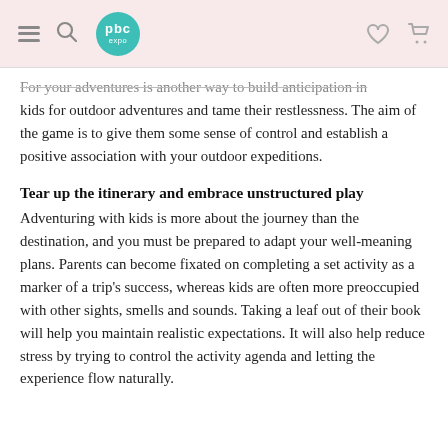pbc expo
for your adventures is another way to build anticipation in kids for outdoor adventures and tame their restlessness. The aim of the game is to give them some sense of control and establish a positive association with your outdoor expeditions.
Tear up the itinerary and embrace unstructured play
Adventuring with kids is more about the journey than the destination, and you must be prepared to adapt your well-meaning plans. Parents can become fixated on completing a set activity as a marker of a trip's success, whereas kids are often more preoccupied with other sights, smells and sounds. Taking a leaf out of their book will help you maintain realistic expectations. It will also help reduce stress by trying to control the activity agenda and letting the experience flow naturally.